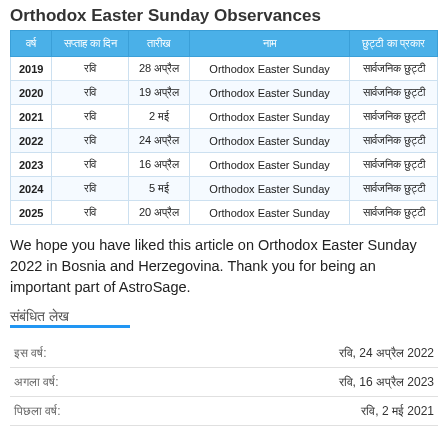Orthodox Easter Sunday Observances
| वर्ष | सप्ताह का दिन | तारीख | नाम | छुट्टी का प्रकार |
| --- | --- | --- | --- | --- |
| 2019 | रवि | 28 अप्रैल | Orthodox Easter Sunday | सार्वजनिक छुट्टी |
| 2020 | रवि | 19 अप्रैल | Orthodox Easter Sunday | सार्वजनिक छुट्टी |
| 2021 | रवि | 2 मई | Orthodox Easter Sunday | सार्वजनिक छुट्टी |
| 2022 | रवि | 24 अप्रैल | Orthodox Easter Sunday | सार्वजनिक छुट्टी |
| 2023 | रवि | 16 अप्रैल | Orthodox Easter Sunday | सार्वजनिक छुट्टी |
| 2024 | रवि | 5 मई | Orthodox Easter Sunday | सार्वजनिक छुट्टी |
| 2025 | रवि | 20 अप्रैल | Orthodox Easter Sunday | सार्वजनिक छुट्टी |
We hope you have liked this article on Orthodox Easter Sunday 2022 in Bosnia and Herzegovina. Thank you for being an important part of AstroSage.
संबंधित लेख
| लेबल | मान |
| --- | --- |
| इस वर्ष: | रवि, 24 अप्रैल 2022 |
| अगला वर्ष: | रवि, 16 अप्रैल 2023 |
| पिछला वर्ष: | रवि, 2 मई 2021 |